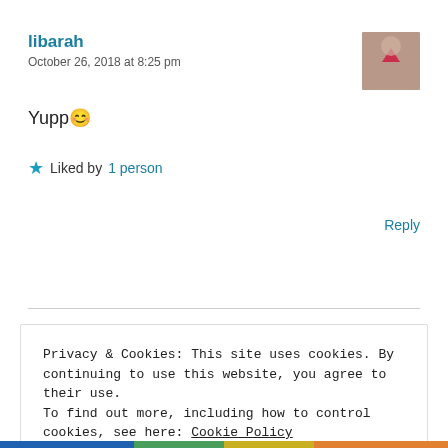libarah
October 26, 2018 at 8:25 pm
[Figure (photo): User avatar thumbnail showing a person with a heart graphic]
Yupp 😊
★ Liked by 1 person
Reply
Privacy & Cookies: This site uses cookies. By continuing to use this website, you agree to their use. To find out more, including how to control cookies, see here: Cookie Policy
Close and accept